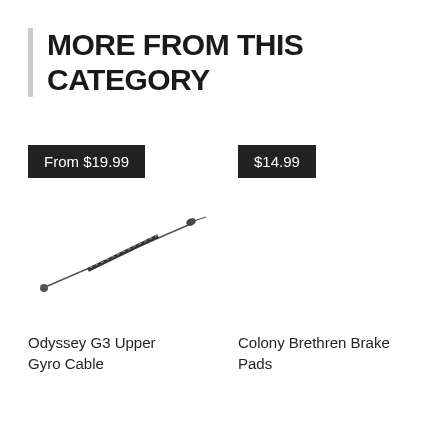MORE FROM THIS CATEGORY
[Figure (photo): Product card showing Odyssey G3 Upper Gyro Cable with price badge 'From $19.99' and a thin dark cable with end fitting on white background]
Odyssey G3 Upper Gyro Cable
[Figure (photo): Product card showing Colony Brethren Brake Pads with price badge '$14.99' on white background]
Colony Brethren Brake Pads